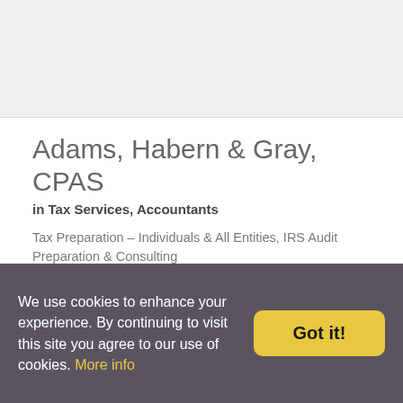Adams, Habern & Gray, CPAS
in Tax Services, Accountants
Tax Preparation – Individuals & All Entities, IRS Audit Preparation & Consulting
4500 S. Lakeshore Dr. Suite 300
Phoenix, Arizona 85282
Is this your listing?
Bookmark this  |  Send E-mail
480-777-9700
We use cookies to enhance your experience. By continuing to visit this site you agree to our use of cookies. More info